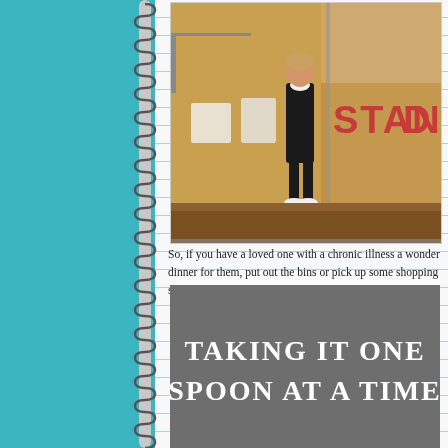[Figure (photo): Woman in black overalls standing in front of a store with large red letters reading 'STAND' on the glass window, inside a shopping mall]
So, if you have a loved one with a chronic illness a wonder dinner for them, put out the bins or pick up some shopping some spoons left over to go for a coffee with you.
[Figure (photo): Gray t-shirt with white text reading 'TAKING IT ONE SPOON AT A TIME']